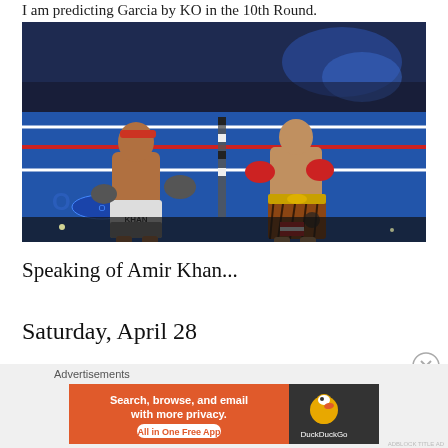I am predicting Garcia by KO in the 10th Round.
[Figure (photo): Two boxers in a boxing ring. Left boxer wearing white shorts labeled 'KHAN', right boxer wearing tiger-print shorts with a championship belt. Blue canvas floor, red ropes, crowd in background.]
Speaking of Amir Khan...
Saturday, April 28
Advertisements
[Figure (other): DuckDuckGo advertisement banner: orange left section with text 'Search, browse, and email with more privacy. All in One Free App', dark right section with DuckDuckGo duck logo and brand name.]